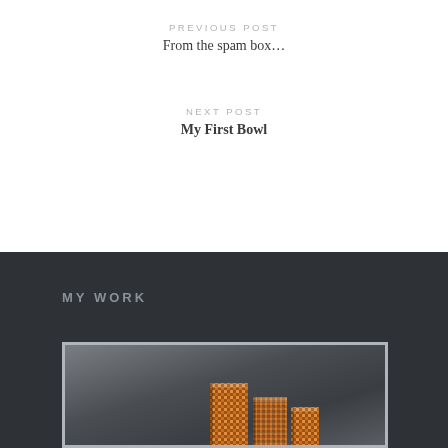PREVIOUS POST
From the spam box…
NEXT POST
My First Bowl
MY WORK
[Figure (photo): Photograph of decorative wooden boxes with mosaic or carved pattern, displayed against a neutral gray background]